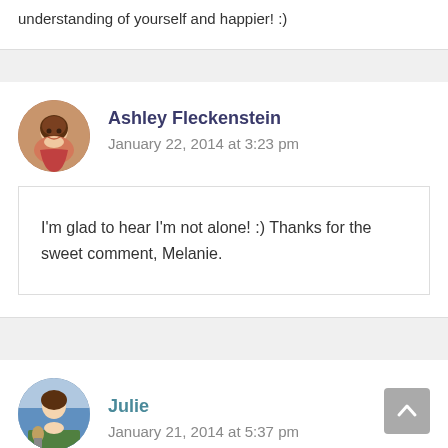understanding of yourself and happier! :)
Ashley Fleckenstein
January 22, 2014 at 3:23 pm
I'm glad to hear I'm not alone! :) Thanks for the sweet comment, Melanie.
Julie
January 21, 2014 at 5:37 pm